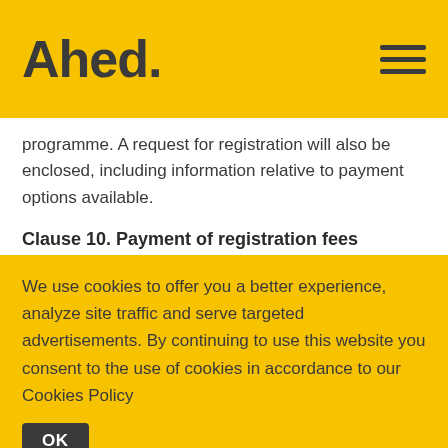Ahed.
programme. A request for registration will also be enclosed, including information relative to payment options available.
Clause 10. Payment of registration fees
To proceed with payment of registration fee, the Client selects a payment option and then proceeds to online payment. As soon as payment is received, confirmation of registration and payment is sent by Ahed to the email address provided by the
We use cookies to offer you a better experience, analyze site traffic and serve targeted advertisements. By continuing to use this website you consent to the use of cookies in accordance to our Cookies Policy
OK